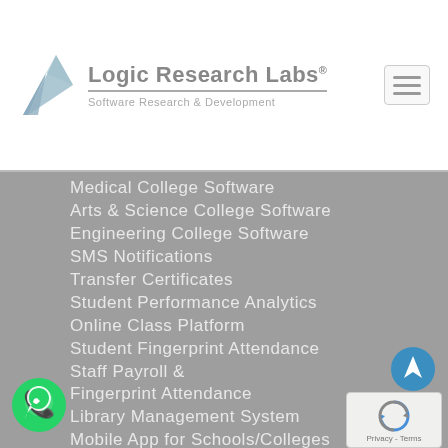[Figure (logo): Logic Research Labs logo with triangular geometric mark in blue/gray, company name and tagline 'Software Research & Development']
[Figure (other): Hamburger menu icon (three horizontal lines) in a rounded rectangle]
Medical College Software
Arts & Science College Software
Engineering College Software
SMS Notifications
Transfer Certificates
Student Performance Analytics
Online Class Platform
Student Fingerprint Attendance
Staff Payroll & Fingerprint Attendance
Library Management System
Mobile App for Schools/Colleges
Websites for Schools/Colleges
Digital Signages for Schools/Colleges
[Figure (logo): WhatsApp green circular icon with phone handset]
[Figure (other): Blue circular arrow/send button]
[Figure (other): reCAPTCHA box with 'Privacy - Terms' text]